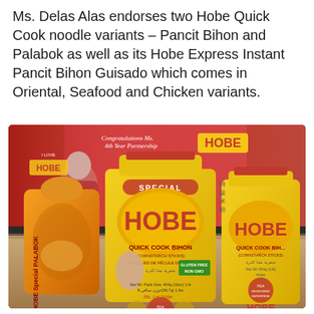Ms. Delas Alas endorses two Hobe Quick Cook noodle variants – Pancit Bihon and Palabok as well as its Hobe Express Instant Pancit Bihon Guisado which comes in Oriental, Seafood and Chicken variants.
[Figure (photo): Three Hobe brand noodle product packages displayed on a table in front of a red promotional banner. Left: an orange Hobe Special Palabok bag. Center: a large yellow Hobe Special Quick Cook Bihon (Cornstarch Sticks) package featuring a female endorser. Right: another yellow Hobe Quick Cook Bihon package. A red Hobe logo is visible on the banner in the background.]